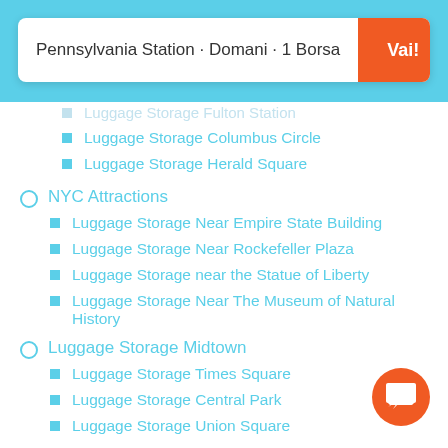Pennsylvania Station · Domani · 1 Borsa | Vai!
Luggage Storage Fulton Station (partial, cut off)
Luggage Storage Columbus Circle
Luggage Storage Herald Square
NYC Attractions
Luggage Storage Near Empire State Building
Luggage Storage Near Rockefeller Plaza
Luggage Storage near the Statue of Liberty
Luggage Storage Near The Museum of Natural History
Luggage Storage Midtown
Luggage Storage Times Square
Luggage Storage Central Park
Luggage Storage Union Square